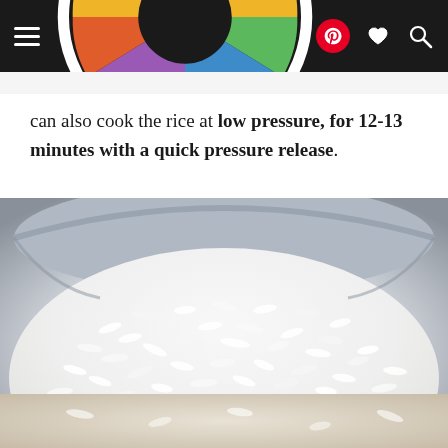EvolvingTable
can also cook the rice at low pressure, for 12-13 minutes with a quick pressure release.
[Figure (photo): Close-up photo of cooked white rice in a dark pressure cooker pot, showing fluffy grains of rice piled up]
[Figure (photo): Partial bottom strip of another photo showing rice or food, cropped]